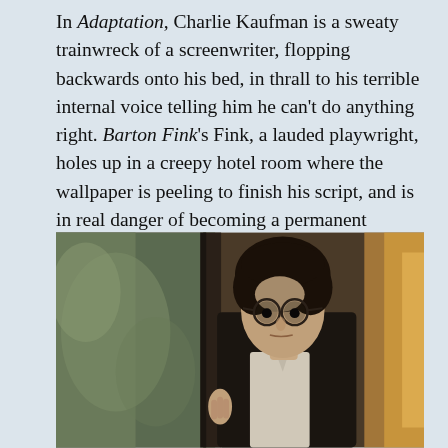In Adaptation, Charlie Kaufman is a sweaty trainwreck of a screenwriter, flopping backwards onto his bed, in thrall to his terrible internal voice telling him he can't do anything right. Barton Fink's Fink, a lauded playwright, holes up in a creepy hotel room where the wallpaper is peeling to finish his script, and is in real danger of becoming a permanent Looney Tune:
[Figure (photo): A man with dark curly hair and round glasses peers around a doorframe or wall, wearing a dark jacket and white shirt. The background shows warm amber/golden tones suggesting a dimly lit hallway. The image is from the film Barton Fink.]